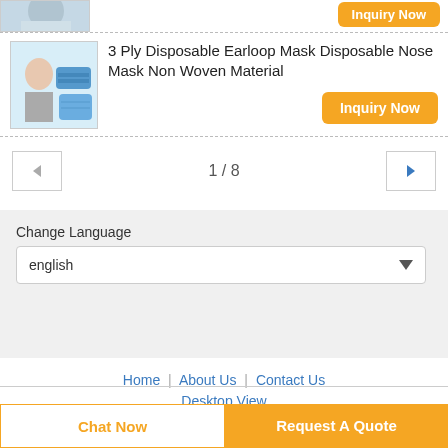[Figure (photo): Partial product listing row showing top of product image (woman wearing mask) with Inquiry Now button visible at top]
3 Ply Disposable Earloop Mask Disposable Nose Mask Non Woven Material
Inquiry Now
1 / 8
Change Language
english
Home | About Us | Contact Us
Desktop View
Copyright © 2020 - 2022 zjmasks.com. All rights reserved.
Chat Now
Request A Quote